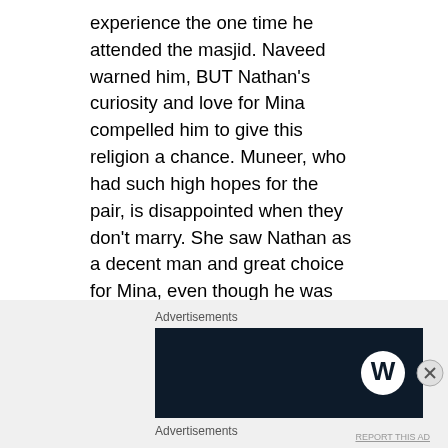experience the one time he attended the masjid. Naveed warned him, BUT Nathan's curiosity and love for Mina compelled him to give this religion a chance. Muneer, who had such high hopes for the pair, is disappointed when they don't marry. She saw Nathan as a decent man and great choice for Mina, even though he was white and Jewish. I feel that Muneer wanted her friend to have a better life than herself.
Advertisements
[Figure (other): Dark navy banner advertisement with WordPress logo (W in circle) on the right side]
Advertisements